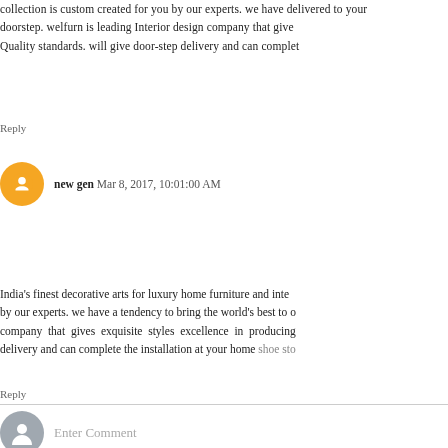collection is custom created for you by our experts. we have delivered to your doorstep. welfurn is leading Interior design company that gives exquisite styles. Quality standards. will give door-step delivery and can complete
Reply
new gen  Mar 8, 2017, 10:01:00 AM
India's finest decorative arts for luxury home furniture and interior. custom created by our experts. we have a tendency to bring the world's best to our customers. company that gives exquisite styles excellence in producing Quality standards. delivery and can complete the installation at your home shoe sto
Reply
Enter Comment